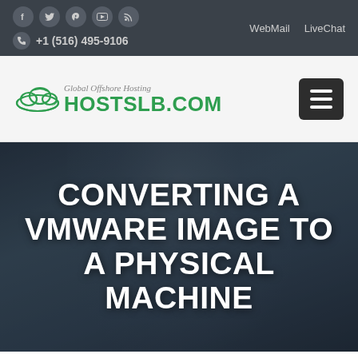Social icons: f, twitter, pinterest, youtube, rss | +1 (516) 495-9106 | WebMail  LiveChat
[Figure (logo): HOSTSLB.COM logo with cloud graphic and tagline 'Global Offshore Hosting']
CONVERTING A VMWARE IMAGE TO A PHYSICAL MACHINE